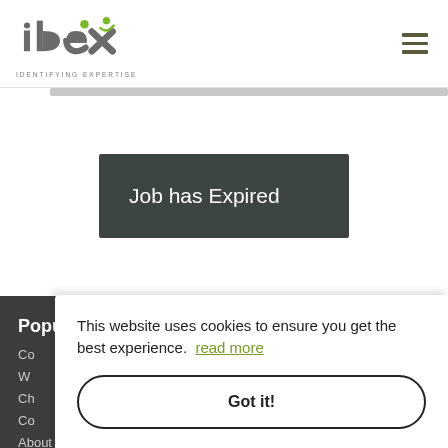[Figure (logo): IDEX logo with green dot above 'i' and green check/person mark over 'e', tagline IDENTIFYING EXPERTISE]
Job has Expired
Popular links
Co
W
Ch
Co
About Us
This website uses cookies to ensure you get the best experience.  read more
Got it!